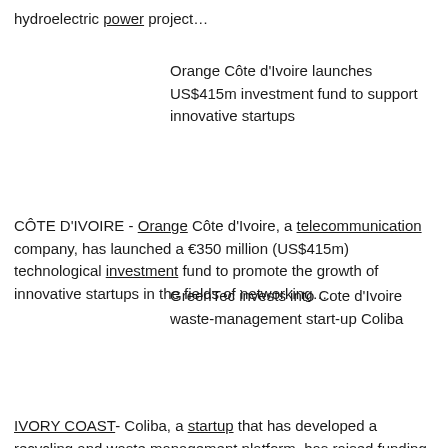hydroelectric power project…
Orange Côte d'Ivoire launches US$415m investment fund to support innovative startups
CÔTE D'IVOIRE - Orange Côte d'Ivoire, a telecommunication company, has launched a €350 million (US$415m) technological investment fund to promote the growth of innovative startups in the fields of networking…
GreenTec invests into Cote d'Ivoire waste-management start-up Coliba
IVORY COAST- Coliba, a startup that has developed a recycling and waste management platform, has raised funding from German firm GreenTec Capital Partners, which will also provide the company with